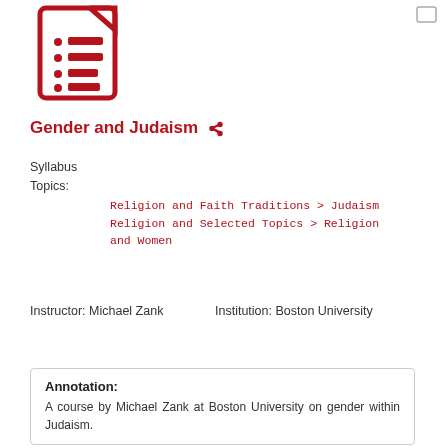[Figure (illustration): Dark red document/list icon showing a stylized page with bullet points and lines]
Gender and Judaism
Syllabus
Topics:
Religion and Faith Traditions > Judaism
Religion and Selected Topics > Religion and Women
Instructor: Michael Zank
Institution: Boston University
Annotation:
A course by Michael Zank at Boston University on gender within Judaism.